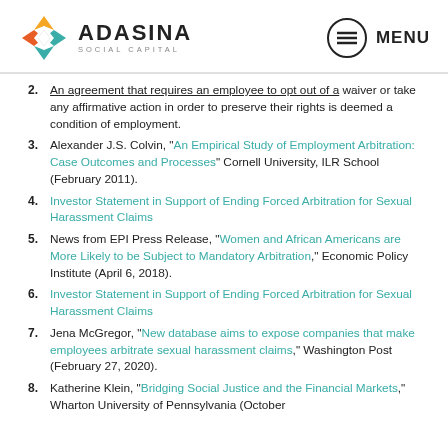ADASINA SOCIAL CAPITAL | MENU
2. An agreement that requires an employee to opt out of a waiver or take any affirmative action in order to preserve their rights is deemed a condition of employment.
3. Alexander J.S. Colvin, "An Empirical Study of Employment Arbitration: Case Outcomes and Processes" Cornell University, ILR School (February 2011).
4. Investor Statement in Support of Ending Forced Arbitration for Sexual Harassment Claims
5. News from EPI Press Release, "Women and African Americans are More Likely to be Subject to Mandatory Arbitration," Economic Policy Institute (April 6, 2018).
6. Investor Statement in Support of Ending Forced Arbitration for Sexual Harassment Claims
7. Jena McGregor, "New database aims to expose companies that make employees arbitrate sexual harassment claims," Washington Post (February 27, 2020).
8. Katherine Klein, "Bridging Social Justice and the Financial Markets," Wharton University of Pennsylvania (October